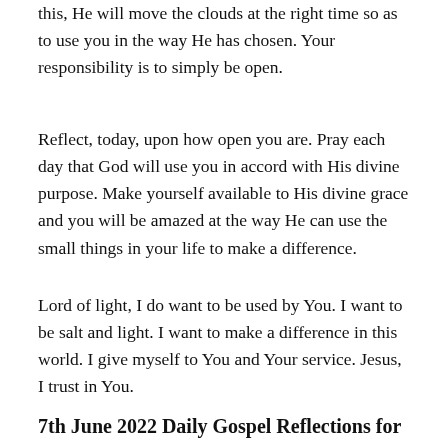this, He will move the clouds at the right time so as to use you in the way He has chosen. Your responsibility is to simply be open.
Reflect, today, upon how open you are. Pray each day that God will use you in accord with His divine purpose. Make yourself available to His divine grace and you will be amazed at the way He can use the small things in your life to make a difference.
Lord of light, I do want to be used by You. I want to be salt and light. I want to make a difference in this world. I give myself to You and Your service. Jesus, I trust in You.
7th June 2022 Daily Gospel Reflections for